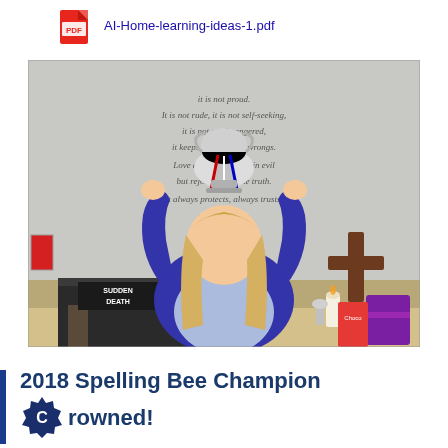AI-Home-learning-ideas-1.pdf
[Figure (photo): A young girl in a blue school cardigan holding a trophy above her head in a classroom/hall setting. Behind her is text on a wall with what appears to be a Bible verse. A wooden cross is visible on the right side. Items including Cadbury Heroes chocolates are visible on a table.]
2018 Spelling Bee Champion crowned!